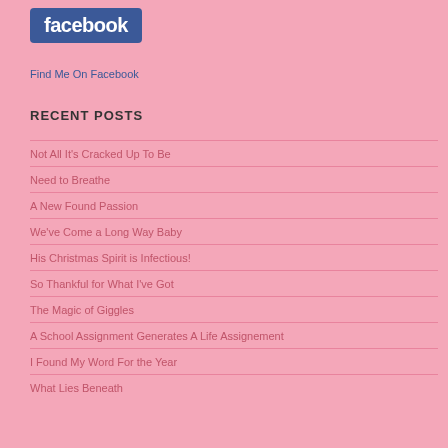[Figure (logo): Facebook logo — white bold text 'facebook' on blue rounded rectangle background]
Find Me On Facebook
RECENT POSTS
Not All It's Cracked Up To Be
Need to Breathe
A New Found Passion
We've Come a Long Way Baby
His Christmas Spirit is Infectious!
So Thankful for What I've Got
The Magic of Giggles
A School Assignment Generates A Life Assignement
I Found My Word For the Year
What Lies Beneath